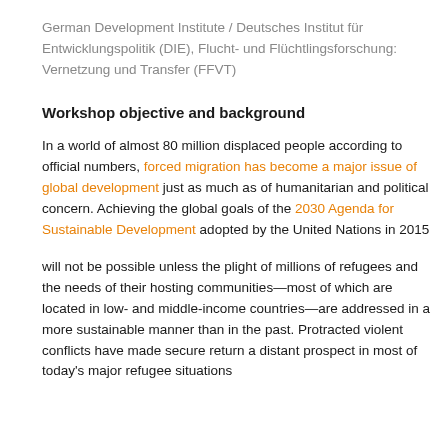German Development Institute / Deutsches Institut für Entwicklungspolitik (DIE), Flucht- und Flüchtlingsforschung: Vernetzung und Transfer (FFVT)
Workshop objective and background
In a world of almost 80 million displaced people according to official numbers, forced migration has become a major issue of global development just as much as of humanitarian and political concern. Achieving the global goals of the 2030 Agenda for Sustainable Development adopted by the United Nations in 2015
will not be possible unless the plight of millions of refugees and the needs of their hosting communities—most of which are located in low- and middle-income countries—are addressed in a more sustainable manner than in the past. Protracted violent conflicts have made secure return a distant prospect in most of today's major refugee situations